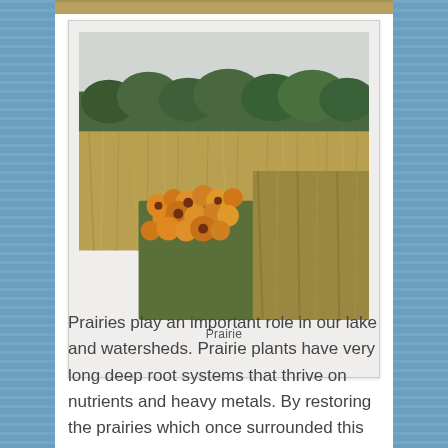[Figure (photo): Photograph of a prairie landscape with orange/yellow wildflowers (likely black-eyed Susans) in the foreground, tall grasses in the middle ground, and trees along the horizon under an overcast sky. Photo presented in a polaroid-style frame with a light gray background and caption area.]
Prairie
Prairies play an important role in our lake and watersheds. Prairie plants have very long deep root systems that thrive on nutrients and heavy metals. By restoring the prairies which once surrounded this lake area we are